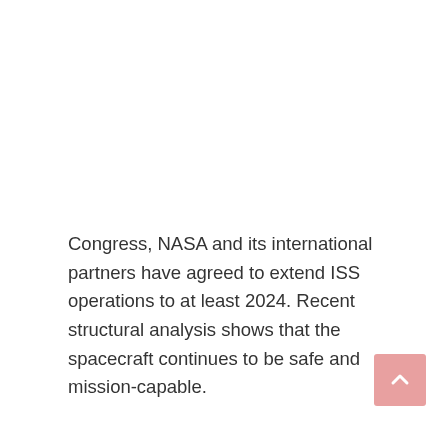Congress, NASA and its international partners have agreed to extend ISS operations to at least 2024. Recent structural analysis shows that the spacecraft continues to be safe and mission-capable.
NASA selected Boeing as the ISS prime contractor in 1993.  Throughout development, assembly, habitation and daily operations aboard ISS, Boeing has partnered closely with NASA to help the agency and its international partners safely host astronauts and cosmonauts for months at a time.  The astronauts conduct microgravity experiments that help treat disease, increase food production, and manufacture